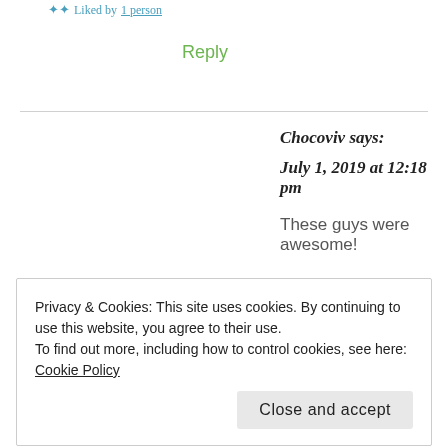Liked by 1 person
Reply
Chocoviv says:
July 1, 2019 at 12:18 pm
These guys were awesome!
★ Like
Privacy & Cookies: This site uses cookies. By continuing to use this website, you agree to their use.
To find out more, including how to control cookies, see here: Cookie Policy
Close and accept